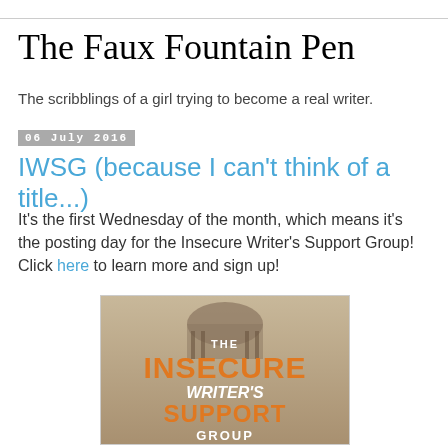The Faux Fountain Pen
The scribblings of a girl trying to become a real writer.
06 July 2016
IWSG (because I can't think of a title...)
It's the first Wednesday of the month, which means it's the posting day for the Insecure Writer's Support Group! Click here to learn more and sign up!
[Figure (logo): The Insecure Writer's Support Group logo featuring orange and white text on a sepia-toned background with a domed building]